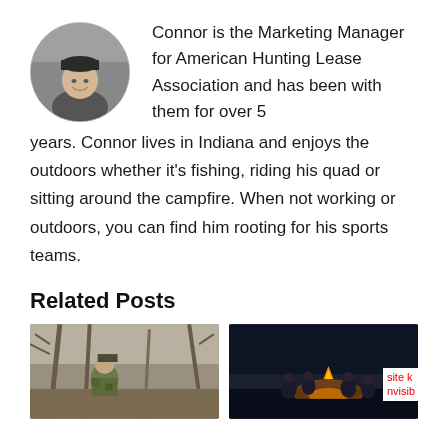[Figure (photo): Circular headshot photo of Connor, a smiling young man wearing a dark cap, in black and white style]
Connor is the Marketing Manager for American Hunting Lease Association and has been with them for over 5 years. Connor lives in Indiana and enjoys the outdoors whether it's fishing, riding his quad or sitting around the campfire. When not working or outdoors, you can find him rooting for his sports teams.
Related Posts
[Figure (photo): Outdoor hunting photo showing a person in camouflage gear looking up among bare winter trees]
[Figure (photo): Dark nighttime photo of a group of people gathered around a campfire outdoors]